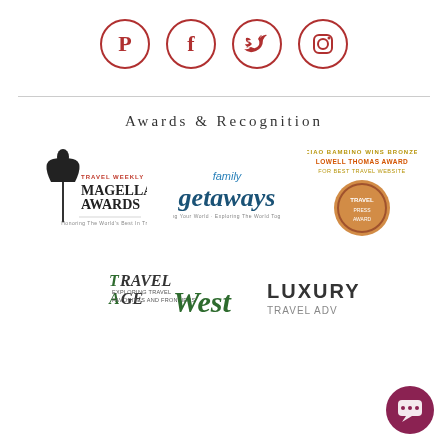[Figure (illustration): Four social media icons in red circles: Pinterest, Facebook, Twitter, Instagram]
Awards & Recognition
[Figure (logo): Travel Weekly Magellan Awards logo with trophy figure]
[Figure (logo): Family Getaways logo in teal/blue]
[Figure (logo): Ciao Bambino wins Bronze Lowell Thomas Award for Best Travel Website - bronze medal badge]
[Figure (logo): TravelAge West - Exploring Travel Favorites and Frontiers logo]
[Figure (logo): Luxury Travel Adv logo (partially visible)]
[Figure (illustration): Dark red/maroon chat button icon in bottom right corner]